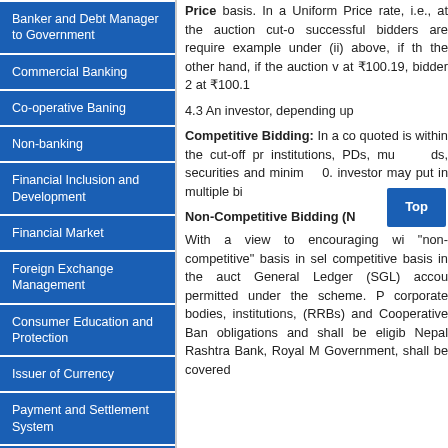Banker and Debt Manager to Government
Commercial Banking
Co-operative Baning
Non-banking
Financial Inclusion and Development
Financial Market
Foreign Exchange Management
Consumer Education and Protection
Issuer of Currency
Payment and Settlement System
Research
Others
Deposit Insurance and Credit
Price basis. In a Uniform Price rate, i.e., at the auction cut-o successful bidders are require example under (ii) above, if th the other hand, if the auction v at ₹100.19, bidder 2 at ₹100.1
4.3 An investor, depending up
Competitive Bidding: In a co quoted is within the cut-off pr institutions, PDs, mu ds, securities and minim 0. investor may put in multiple bi
Non-Competitive Bidding (N
With a view to encouraging wi "non-competitive" basis in sel competitive basis in the auct General Ledger (SGL) accou permitted under the scheme. P corporate bodies, institutions, (RRBs) and Cooperative Ban obligations and shall be eligib Nepal Rashtra Bank, Royal M Government, shall be covered